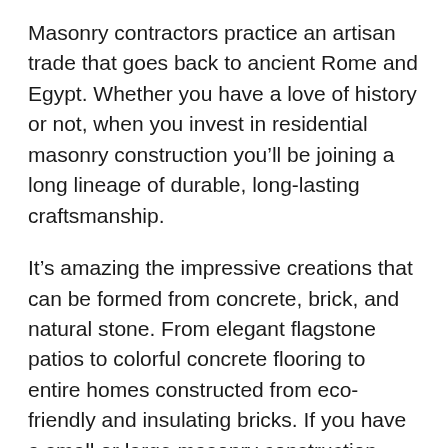Masonry contractors practice an artisan trade that goes back to ancient Rome and Egypt. Whether you have a love of history or not, when you invest in residential masonry construction you'll be joining a long lineage of durable, long-lasting craftsmanship.
It's amazing the impressive creations that can be formed from concrete, brick, and natural stone. From elegant flagstone patios to colorful concrete flooring to entire homes constructed from eco-friendly and insulating bricks. If you have a small or large masonry construction project in mind in Bloomington, give Emerson Masonry Inc a call. Our team is always eagerly awaiting new assignments!
WE LOVE WHAT WE DO